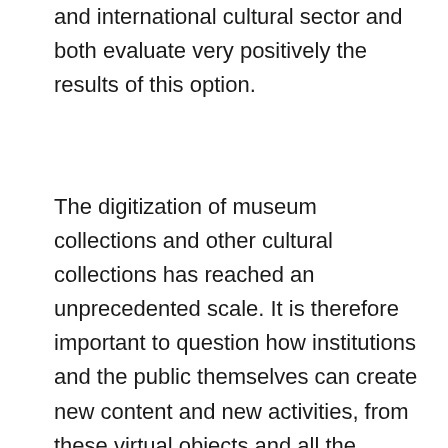and international cultural sector and both evaluate very positively the results of this option.
The digitization of museum collections and other cultural collections has reached an unprecedented scale. It is therefore important to question how institutions and the public themselves can create new content and new activities, from these virtual objects and all the information associated with them. It now seems clear that, in addition to investing in the democratization of access to heritage and culture, institutions must foster a critical and creative appropriation of the content